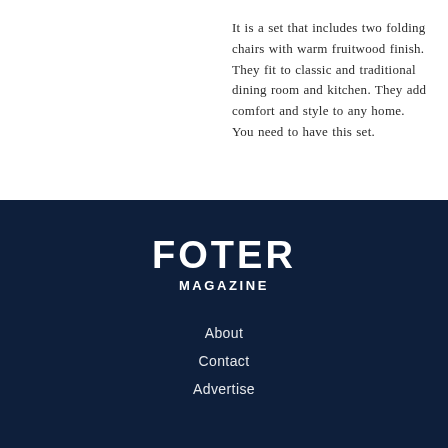It is a set that includes two folding chairs with warm fruitwood finish. They fit to classic and traditional dining room and kitchen. They add comfort and style to any home. You need to have this set.
FOTER MAGAZINE
About
Contact
Advertise